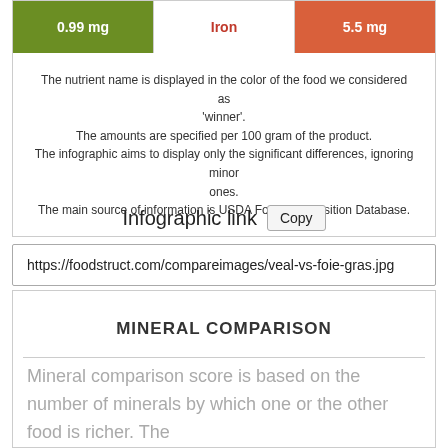[Figure (infographic): Nutrient comparison row showing Iron: 0.99 mg (green left) vs 5.5 mg (red/orange right), with Iron label in center in red]
The nutrient name is displayed in the color of the food we considered as 'winner'.
The amounts are specified per 100 gram of the product.
The infographic aims to display only the significant differences, ignoring minor ones.
The main source of information is USDA Food Composition Database.
Infographic link  Copy
https://foodstruct.com/compareimages/veal-vs-foie-gras.jpg
MINERAL COMPARISON
Mineral comparison score is based on the number of minerals by which one or the other food is richer. The